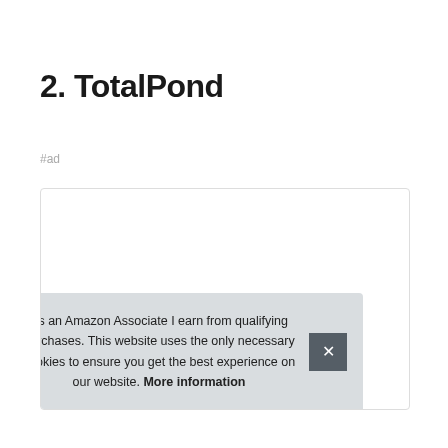2. TotalPond
#ad
[Figure (photo): Product photo of a TotalPond pond pump or similar pond equipment, shown partially, dark circular product visible at bottom of image box]
As an Amazon Associate I earn from qualifying purchases. This website uses the only necessary cookies to ensure you get the best experience on our website. More information